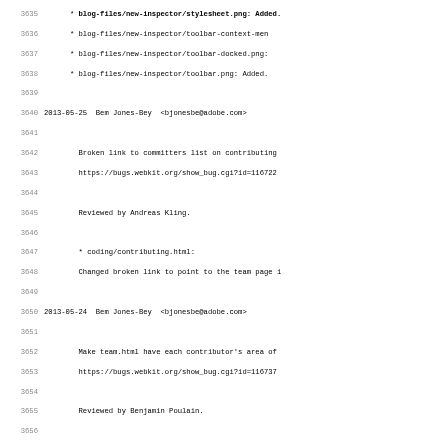Source code changelog/log content from lines 3635-3667, showing git-style commit log entries in monospace font.